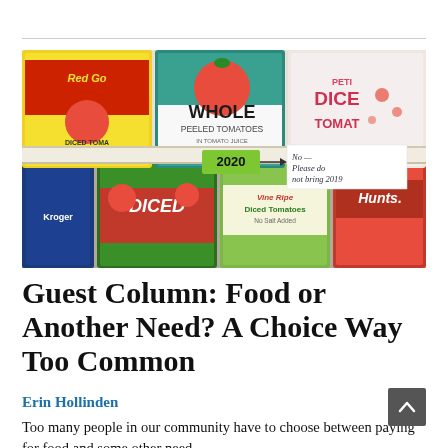[Figure (photo): Photograph of canned tomato goods (Red Gold Diced Tomatoes, Whole Peeled Tomatoes, Petite Diced Tomatoes, Kroger Diced, Vine Ripe Diced Tomatoes No Salt Added, Hunts 100% Natural) stacked in a shelf with a cardboard box label reading '2020' and a handwritten note saying 'No — Please do not bring 2019']
Guest Column: Food or Another Need? A Choice Way Too Common
Erin Hollinden
Too many people in our community have to choose between paying for food and some other need —